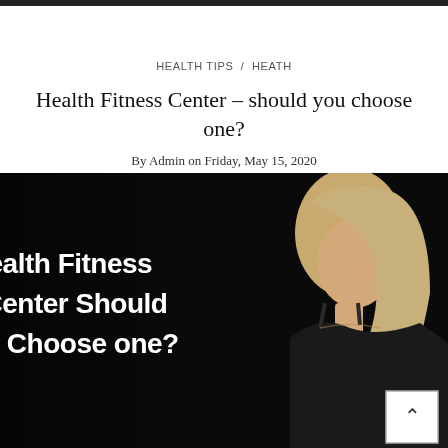HEALTH TIPS / HEATH
Health Fitness Center – should you choose one?
By Admin on Friday, May 15, 2020
[Figure (photo): Dark background image with a blonde woman in a black sports bra looking to the right. White bold text on the left reads: Health Fitness Center Should you Choose one?]